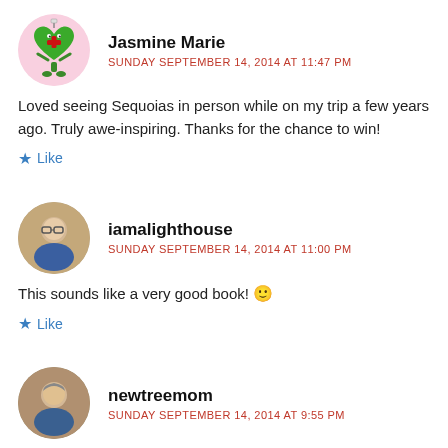Jasmine Marie
SUNDAY SEPTEMBER 14, 2014 AT 11:47 PM
Loved seeing Sequoias in person while on my trip a few years ago. Truly awe-inspiring. Thanks for the chance to win!
Like
iamalighthouse
SUNDAY SEPTEMBER 14, 2014 AT 11:00 PM
This sounds like a very good book! 🙂
Like
newtreemom
SUNDAY SEPTEMBER 14, 2014 AT 9:55 PM
What a beautiful book! It makes you feel the immensity of the